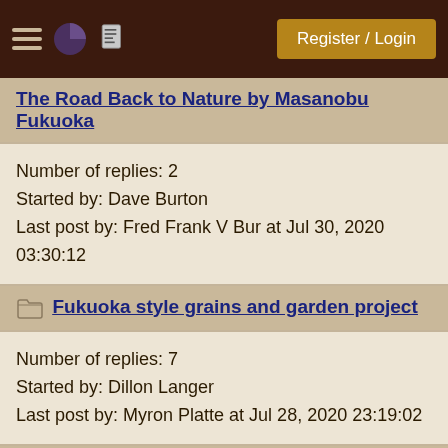Register / Login
The Road Back to Nature by Masanobu Fukuoka
Number of replies: 2
Started by: Dave Burton
Last post by: Fred Frank V Bur at Jul 30, 2020 03:30:12
Fukuoka style grains and garden project
Number of replies: 7
Started by: Dillon Langer
Last post by: Myron Platte at Jul 28, 2020 23:19:02
Help to kick starting natural farm in Slovenia
Number of replies: 75
Started by: Uroš Jarc
Last post by: Stephen Nakar at Jan 24, 2020 06:16:24